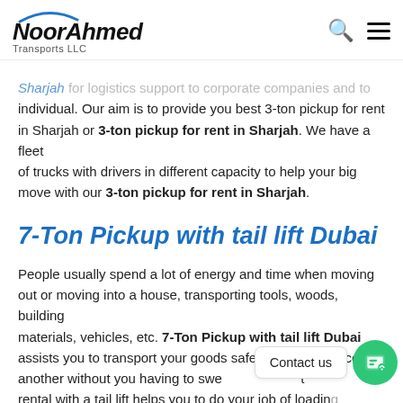NoorAhmed Transports LLC
Sharjah for logistics support to corporate companies and to individual. Our aim is to provide you best 3-ton pickup for rent in Sharjah or 3-ton pickup for rent in Sharjah. We have a fleet of trucks with drivers in different capacity to help your big move with our 3-ton pickup for rent in Sharjah.
7-Ton Pickup with tail lift Dubai
People usually spend a lot of energy and time when moving out or moving into a house, transporting tools, woods, building materials, vehicles, etc. 7-Ton Pickup with tail lift Dubai assists you to transport your goods safely from one place to another without you having to swe[at]. The truck rental with a tail lift helps you to do your job of loading, transporting, and unloading heavy goods easily and effectively.